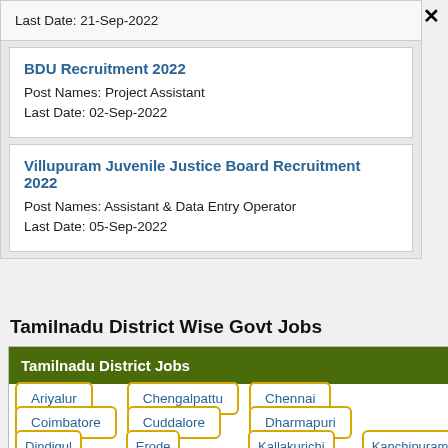Last Date: 21-Sep-2022
BDU Recruitment 2022
Post Names: Project Assistant
Last Date: 02-Sep-2022
Villupuram Juvenile Justice Board Recruitment 2022
Post Names: Assistant & Data Entry Operator
Last Date: 05-Sep-2022
Tamilnadu District Wise Govt Jobs
| Tamilnadu District Jobs |
| --- |
| Ariyalur | Chengalpattu | Chennai |
| Coimbatore | Cuddalore | Dharmapuri |
| Dindigul | Erode | Kallakurichi | Kanchipuram |